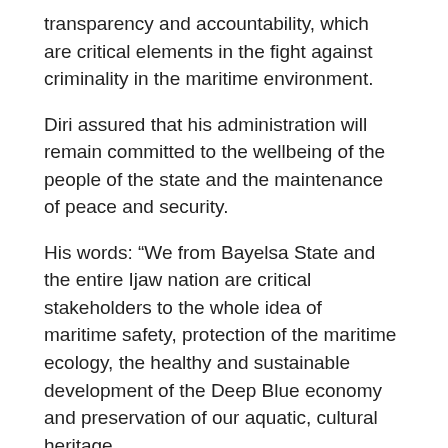transparency and accountability, which are critical elements in the fight against criminality in the maritime environment.
Diri assured that his administration will remain committed to the wellbeing of the people of the state and the maintenance of peace and security.
His words: “We from Bayelsa State and the entire Ijaw nation are critical stakeholders to the whole idea of maritime safety, protection of the maritime ecology, the healthy and sustainable development of the Deep Blue economy and preservation of our aquatic, cultural heritage.
“Our commitment to this is premised on the fact that our lives depend on the coastal ecosystem and any threat to its peace directly impacts us. For example,